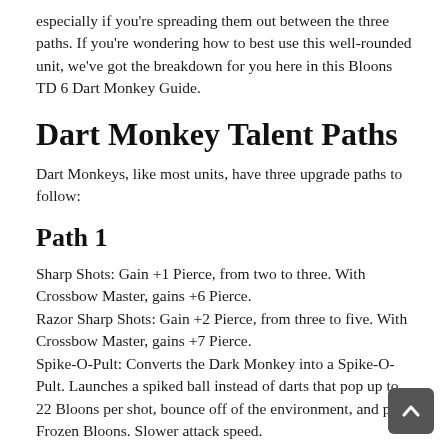especially if you're spreading them out between the three paths. If you're wondering how to best use this well-rounded unit, we've got the breakdown for you here in this Bloons TD 6 Dart Monkey Guide.
Dart Monkey Talent Paths
Dart Monkeys, like most units, have three upgrade paths to follow:
Path 1
Sharp Shots: Gain +1 Pierce, from two to three. With Crossbow Master, gains +6 Pierce.
Razor Sharp Shots: Gain +2 Pierce, from three to five. With Crossbow Master, gains +7 Pierce.
Spike-O-Pult: Converts the Dark Monkey into a Spike-O-Pult. Launches a spiked ball instead of darts that pop up to 22 Bloons per shot, bounce off of the environment, and pop Frozen Bloons. Slower attack speed.
Juggernaut: Upgrades the Spiked Ball to pop all Bloons (except